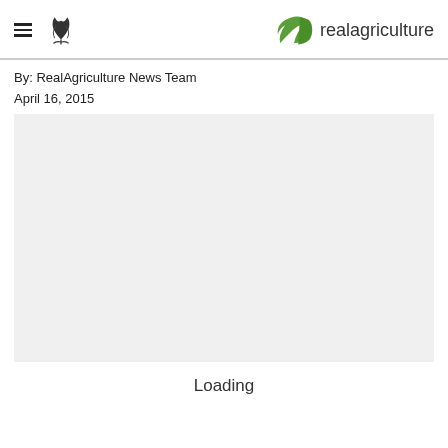realagriculture
By: RealAgriculture News Team
April 16, 2015
[Figure (other): Gray placeholder media area (loading content)]
Loading